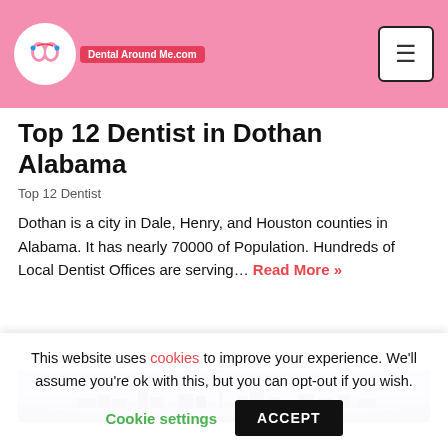DentalAroundMe.com
Top 12 Dentist in Dothan Alabama
Top 12 Dentist
Dothan is a city in Dale, Henry, and Houston counties in Alabama. It has nearly 70000 of Population. Hundreds of Local Dentist Offices are serving... Read More »
[Figure (photo): Panoramic twilight cityscape photo showing a city skyline with a tall tower against a purple/blue sky]
This website uses cookies to improve your experience. We'll assume you're ok with this, but you can opt-out if you wish. Cookie settings ACCEPT